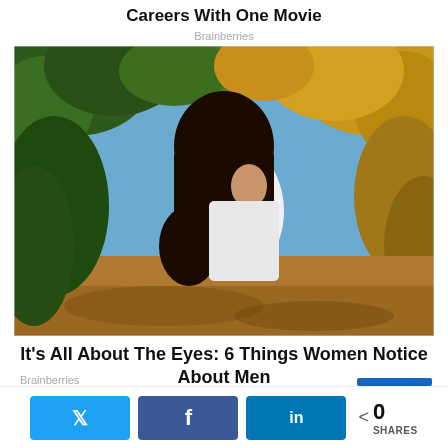Careers With One Movie
Brainberries
[Figure (photo): A woman with long dark hair wearing a white crop top, standing outdoors surrounded by trees and foliage, looking back over her shoulder.]
It's All About The Eyes: 6 Things Women Notice About Men
Brainberries
0 SHARES — Twitter share, Facebook share, LinkedIn share buttons